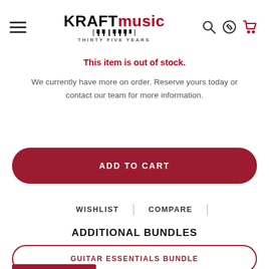[Figure (logo): Kraft Music logo with piano keyboard icon and 'THIRTY FIVE YEARS' tagline, plus hamburger menu, search, phone, and cart icons in header]
This item is out of stock.
We currently have more on order. Reserve yours today or contact our team for more information.
ADD TO CART
WISHLIST
COMPARE
ADDITIONAL BUNDLES
GUITAR ESSENTIALS BUNDLE